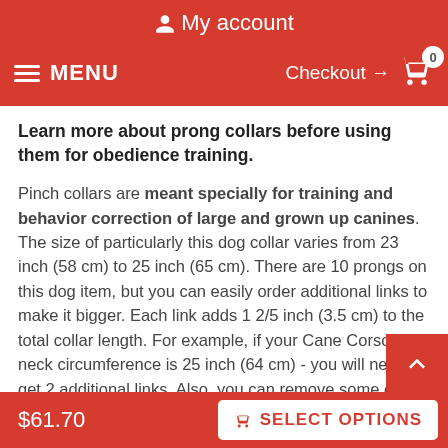My account
MENU  Checkout → 0
Learn more about prong collars before using them for obedience training.

Pinch collars are meant specially for training and behavior correction of large and grown up canines. The size of particularly this dog collar varies from 23 inch (58 cm) to 25 inch (65 cm). There are 10 prongs on this dog item, but you can easily order additional links to make it bigger. Each link adds 1 2/5 inch (3.5 cm) to the total collar length. For example, if your Cane Corso's neck circumference is 25 inch (64 cm) - you will need to get 2 additional links. Also, you can remove some of the prongs to make this Prong Collar smaller. Just note that you will need pliers to do that.
$61.70  SELECT OPTIONS